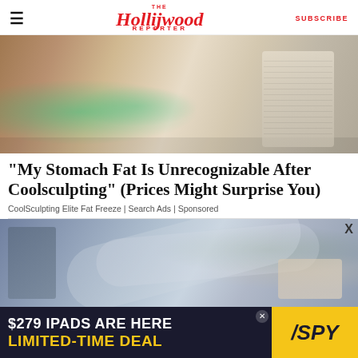The Hollywood Reporter | SUBSCRIBE
[Figure (photo): Person lying on treatment table receiving CoolSculpting fat-freezing procedure with applicator devices attached to their midsection and medical equipment in background]
"My Stomach Fat Is Unrecognizable After Coolsculpting" (Prices Might Surprise You)
CoolSculpting Elite Fat Freeze | Search Ads | Sponsored
[Figure (photo): CoolSculpting machine with multiple hose attachments, person lying on treatment table in background with plants and bottles on shelves]
$279 IPADS ARE HERE LIMITED-TIME DEAL / SPY